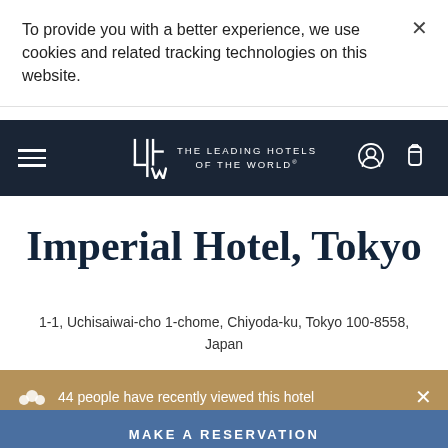To provide you with a better experience, we use cookies and related tracking technologies on this website.
[Figure (logo): The Leading Hotels of the World logo with LHW monogram icon in white on dark navy navbar, with hamburger menu left and user/luggage icons right]
Imperial Hotel, Tokyo
1-1, Uchisaiwai-cho 1-chome, Chiyoda-ku, Tokyo 100-8558, Japan
44 people have recently viewed this hotel
MAKE A RESERVATION